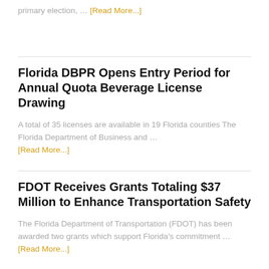primary election, … [Read More...]
Florida DBPR Opens Entry Period for Annual Quota Beverage License Drawing
A total of 35 licenses are available in 19 Florida counties The Florida Department of Business and … [Read More...]
FDOT Receives Grants Totaling $37 Million to Enhance Transportation Safety
The Florida Department of Transportation (FDOT) has been awarded two grants which support Florida's commitment … [Read More...]